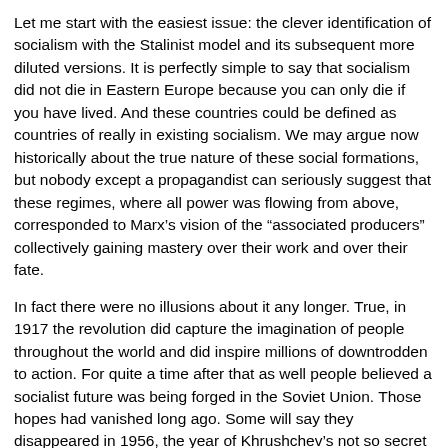Let me start with the easiest issue: the clever identification of socialism with the Stalinist model and its subsequent more diluted versions. It is perfectly simple to say that socialism did not die in Eastern Europe because you can only die if you have lived. And these countries could be defined as countries of really in existing socialism. We may argue now historically about the true nature of these social formations, but nobody except a propagandist can seriously suggest that these regimes, where all power was flowing from above, corresponded to Marx's vision of the “associated producers” collectively gaining mastery over their work and over their fate.
In fact there were no illusions about it any longer. True, in 1917 the revolution did capture the imagination of people throughout the world and did inspire millions of downtrodden to action. For quite a time after that as well people believed a socialist future was being forged in the Soviet Union. Those hopes had vanished long ago. Some will say they disappeared in 1956, the year of Khrushchev's not so secret indictment of Stalin and, at the same time, the year of the invasion of Hungary.
Others will maintain that illusions persisted until the entry of